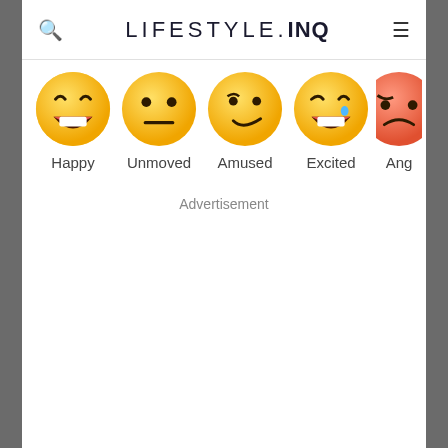LIFESTYLE.INQ
[Figure (illustration): Row of emoji reaction icons with labels: Happy (laughing face), Unmoved (neutral face), Amused (smirking face), Excited (laughing with tear face), Ang[ry] (partially visible angry face)]
Advertisement